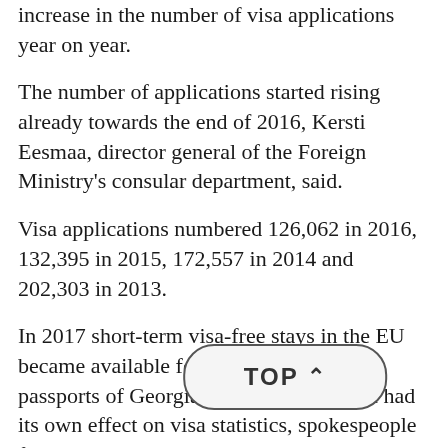increase in the number of visa applications year on year.
The number of applications started rising already towards the end of 2016, Kersti Eesmaa, director general of the Foreign Ministry's consular department, said.
Visa applications numbered 126,062 in 2016, 132,395 in 2015, 172,557 in 2014 and 202,303 in 2013.
In 2017 short-term visa-free stays in the EU became available for holders of biometric passports of Georgia and Ukraine, which had its own effect on visa statistics, spokespeople for the Foreign Ministry said. As a result, the number of visa applications fell effectively to zero in Georgia and Ukraine where biometric passports have been issued. A noticeable decline...